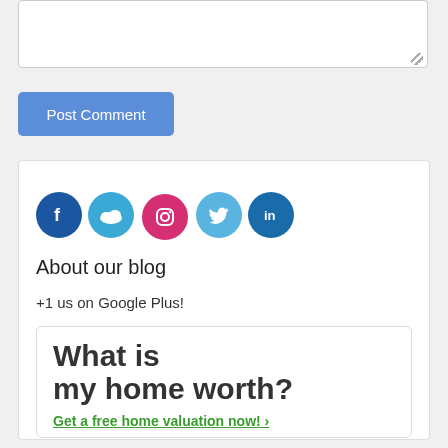[Figure (screenshot): Textarea input box with resize handle]
Post Comment
[Figure (infographic): Social media icons: Facebook, cloud/blog, Instagram, Twitter, LinkedIn]
About our blog
+1 us on Google Plus!
What is my home worth?
Get a free home valuation now! >